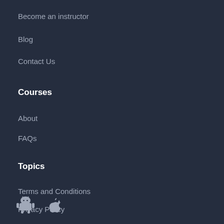Become an instructor
Blog
Contact Us
Courses
About
FAQs
Topics
Terms and Conditions
Privacy Policy
[Figure (illustration): Android robot icon and Apple logo icon side by side]